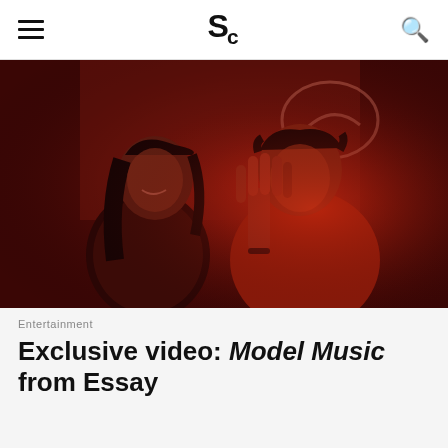SC [logo] [hamburger menu] [search]
[Figure (photo): Two people sitting indoors under red lighting. A woman with dark hair on the left wearing a patterned sweater, smiling. A man on the right wearing a red knit sweater, raising his right hand in a wave gesture. Background shows a whiteboard or wall with some graphic on it.]
Entertainment
Exclusive video: Model Music from Essay